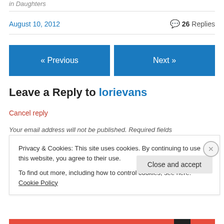in  Daughters
August 10, 2012
26 Replies
« Previous
Next »
Leave a Reply to lorievans
Cancel reply
Your email address will not be published. Required fields
Privacy & Cookies: This site uses cookies. By continuing to use this website, you agree to their use.
To find out more, including how to control cookies, see here: Cookie Policy
Close and accept